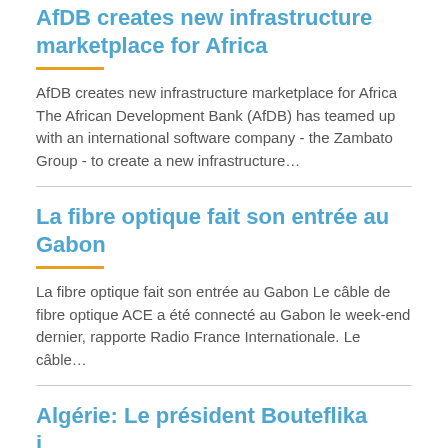AfDB creates new infrastructure marketplace for Africa
AfDB creates new infrastructure marketplace for Africa The African Development Bank (AfDB) has teamed up with an international software company - the Zambato Group - to create a new infrastructure…
La fibre optique fait son entrée au Gabon
La fibre optique fait son entrée au Gabon Le câble de fibre optique ACE a été connecté au Gabon le week-end dernier, rapporte Radio France Internationale. Le câble…
Algérie: Le président Bouteflika